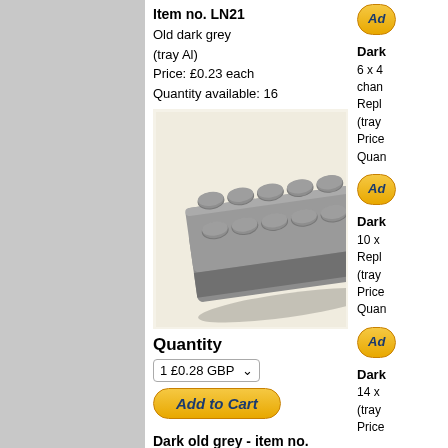Item no. LN21
Old dark grey
(tray Al)
Price: £0.23 each
Quantity available: 16
[Figure (photo): Grey LEGO flat plate 2x6, photographed on cream background]
Quantity
1 £0.28 GBP
Add to Cart
Dark old grey - item no. LN23
6 x 2 dark old grey Lego flat plate
(tray HA)
Price: from £0.20 each
Quantity available: 49
Dark... 6 x 4 chan... Repl... (tray... Price... Quan...
Dark... 10 x Repl... (tray... Price... Quan...
Dark... 14 x (tray... Price...